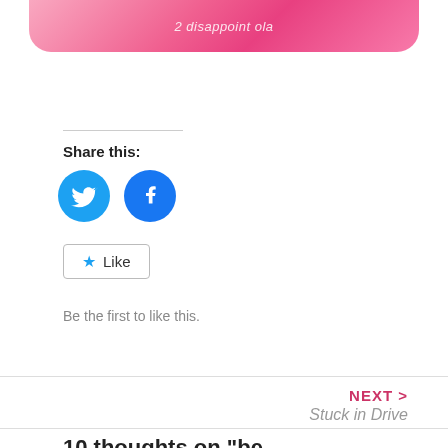[Figure (photo): Pink floral/abstract image at top, rounded bottom corners, with white italic text overlay]
Share this:
[Figure (other): Twitter bird icon circle (blue)]
[Figure (other): Facebook icon circle (blue)]
Like
Be the first to like this.
NEXT > Stuck in Drive